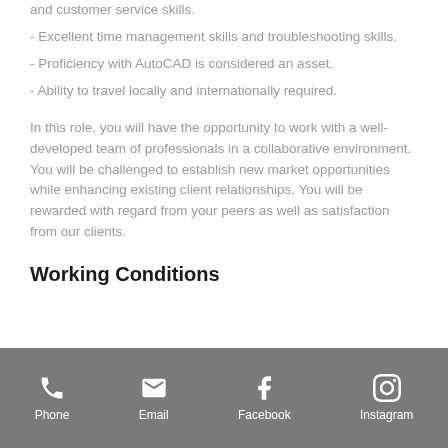and customer service skills.
- Excellent time management skills and troubleshooting skills.
- Proficiency with AutoCAD is considered an asset.
- Ability to travel locally and internationally required.
In this role, you will have the opportunity to work with a well-developed team of professionals in a collaborative environment. You will be challenged to establish new market opportunities while enhancing existing client relationships. You will be rewarded with regard from your peers as well as satisfaction from our clients.
Working Conditions
Phone  Email  Facebook  Instagram